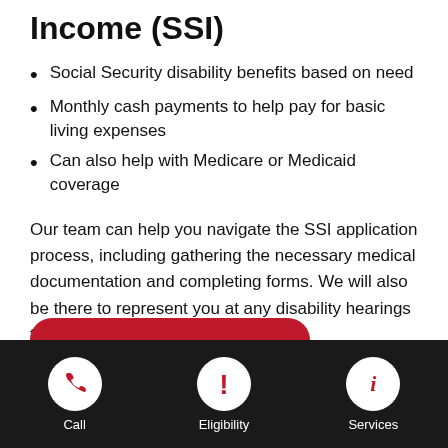Income (SSI)
Social Security disability benefits based on need
Monthly cash payments to help pay for basic living expenses
Can also help with Medicare or Medicaid coverage
Our team can help you navigate the SSI application process, including gathering the necessary medical documentation and completing forms. We will also be there to represent you at any disability hearings that may be required.
[Figure (other): Red rounded rectangle button (partially visible)]
[Figure (infographic): Dark footer navigation bar with three circular icon buttons: a phone icon (Call), an exclamation icon (Eligibility), and an italic i icon (Services)]